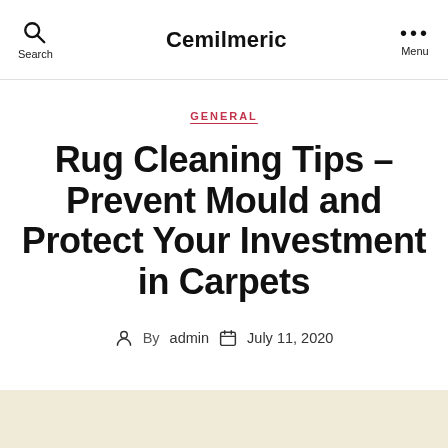Cemilmeric
GENERAL
Rug Cleaning Tips – Prevent Mould and Protect Your Investment in Carpets
By admin  July 11, 2020